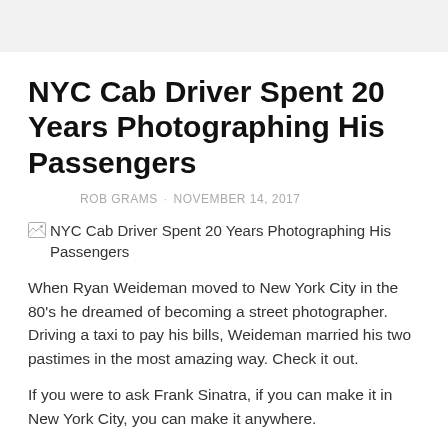NYC Cab Driver Spent 20 Years Photographing His Passengers
ROB GRAMS · NOVEMBER 14, 2017
[Figure (photo): Broken/missing image placeholder with alt text: NYC Cab Driver Spent 20 Years Photographing His Passengers]
When Ryan Weideman moved to New York City in the 80's he dreamed of becoming a street photographer. Driving a taxi to pay his bills, Weideman married his two pastimes in the most amazing way. Check it out.
If you were to ask Frank Sinatra, if you can make it in New York City, you can make it anywhere.